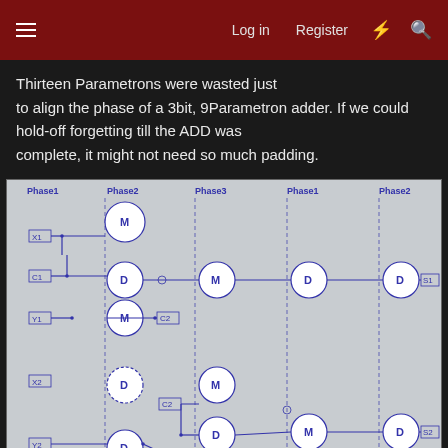Log in | Register
Thirteen Parametrons were wasted just to align the phase of a 3bit, 9Parametron adder. If we could hold-off forgetting till the ADD was complete, it might not need so much padding.
[Figure (circuit-diagram): Parametron circuit diagram showing Phase1, Phase2, Phase3 timing phases with labeled nodes M, D and connections X1, C1, Y1, X2, Y2, X4, C2, C4, S1, S2, S4. Shows interconnected circles representing Parametron elements with directional signal flow lines.]